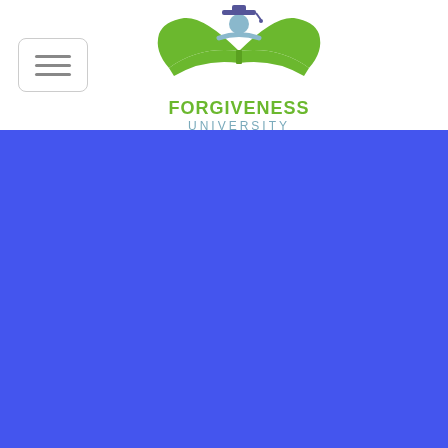[Figure (logo): Forgiveness University logo: a stylized figure with graduation cap above an open green book, with the text FORGIVENESS UNIVERSITY below in green and steel-blue colors]
[Figure (other): Hamburger menu button: a rounded rectangle with three horizontal grey lines]